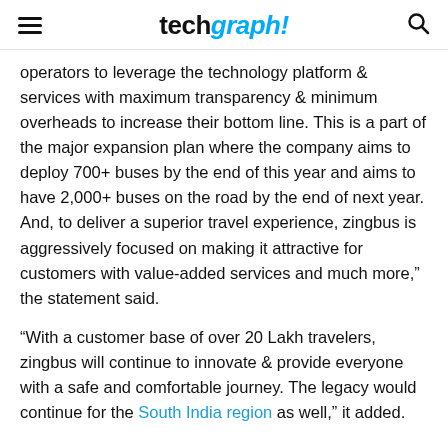techgraph!
operators to leverage the technology platform & services with maximum transparency & minimum overheads to increase their bottom line. This is a part of the major expansion plan where the company aims to deploy 700+ buses by the end of this year and aims to have 2,000+ buses on the road by the end of next year. And, to deliver a superior travel experience, zingbus is aggressively focused on making it attractive for customers with value-added services and much more,” the statement said.
“With a customer base of over 20 Lakh travelers, zingbus will continue to innovate & provide everyone with a safe and comfortable journey. The legacy would continue for the South India region as well,” it added.